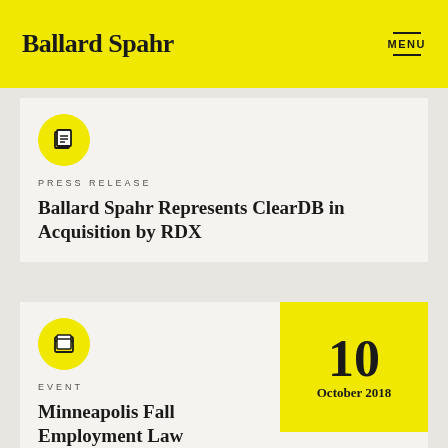Ballard Spahr
MENU
PRESS RELEASE
Ballard Spahr Represents ClearDB in Acquisition by RDX
EVENT
Minneapolis Fall Employment Law Seminar
10 October 2018